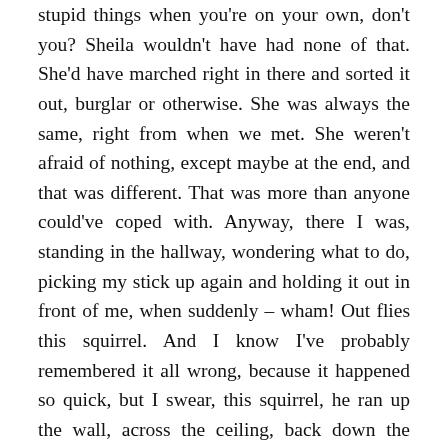stupid things when you're on your own, don't you? Sheila wouldn't have had none of that. She'd have marched right in there and sorted it out, burglar or otherwise. She was always the same, right from when we met. She weren't afraid of nothing, except maybe at the end, and that was different. That was more than anyone could've coped with. Anyway, there I was, standing in the hallway, wondering what to do, picking my stick up again and holding it out in front of me, when suddenly – wham! Out flies this squirrel. And I know I've probably remembered it all wrong, because it happened so quick, but I swear, this squirrel, he ran up the wall, across the ceiling, back down the other side, through my legs and out the front door. And I spun round on the spot to whack him one, and fell over, and I must've caught my head on the hall table, because next thing I know I'm sitting